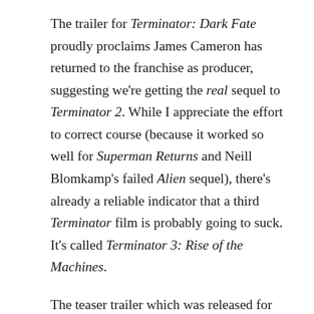The trailer for Terminator: Dark Fate proudly proclaims James Cameron has returned to the franchise as producer, suggesting we're getting the real sequel to Terminator 2. While I appreciate the effort to correct course (because it worked so well for Superman Returns and Neill Blomkamp's failed Alien sequel), there's already a reliable indicator that a third Terminator film is probably going to suck. It's called Terminator 3: Rise of the Machines.
The teaser trailer which was released for T3 over sixteen years ago looked promising. That's because it didn't include any footage from the film. Nick Stahl is so miscast as John Connor that the brief flashforward of him leading the future resistance is embarrassingly unconvincing. Later it's revealed Sarah died of